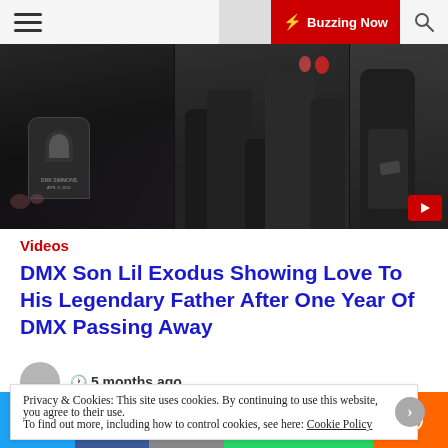≡  🌙  ⚡ Buzzing Now  🔍
[Figure (photo): Three-panel hero image showing DMX memorial gravestone and family members at cemetery visit]
Videos
DMX Son Lil Exodus Showing Love To His Legendary Father After One Year Of DMX Passing Away
🕐 5 months ago
Privacy & Cookies: This site uses cookies. By continuing to use this website, you agree to their use.
To find out more, including how to control cookies, see here: Cookie Policy
Share buttons: Twitter, Facebook, Email, WhatsApp, SMS, More